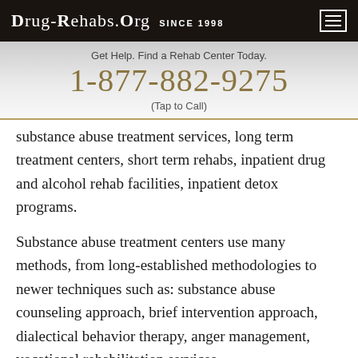Drug-Rehabs.org Since 1998
Get Help. Find a Rehab Center Today.
1-877-882-9275
(Tap to Call)
substance abuse treatment services, long term treatment centers, short term rehabs, inpatient drug and alcohol rehab facilities, inpatient detox programs.
Substance abuse treatment centers use many methods, from long-established methodologies to newer techniques such as: substance abuse counseling approach, brief intervention approach, dialectical behavior therapy, anger management, vocational rehabilitation services,